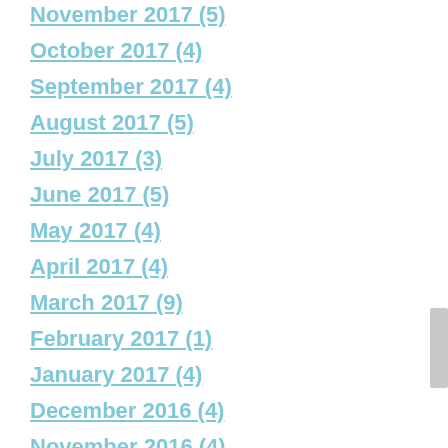November 2017 (5)
October 2017 (4)
September 2017 (4)
August 2017 (5)
July 2017 (3)
June 2017 (5)
May 2017 (4)
April 2017 (4)
March 2017 (9)
February 2017 (1)
January 2017 (4)
December 2016 (4)
November 2016 (4)
October 2016 (5)
September 2016 (4)
August 2016 (4)